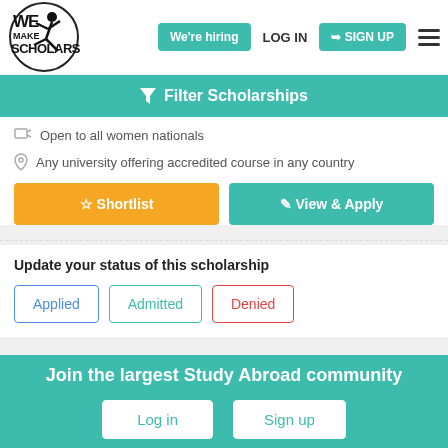[Figure (logo): WE MAKE SCHOLARS logo with circular border and figure silhouette]
We're hiring
LOG IN
SIGN UP
Filter Scholarships
Open to all women nationals
Any university offering accredited course in any country
Shortlist
View & Apply
Update your status of this scholarship
Applied
Admitted
Denied
Join the largest Study Abroad community
Log in
Sign up